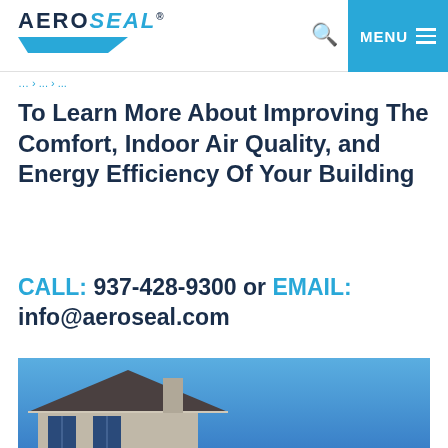AEROSEAL
To Learn More About Improving The Comfort, Indoor Air Quality, and Energy Efficiency Of Your Building
CALL: 937-428-9300 or EMAIL: info@aeroseal.com
[Figure (photo): Exterior photo of a residential house with blue sky background, showing rooftop and upper facade]